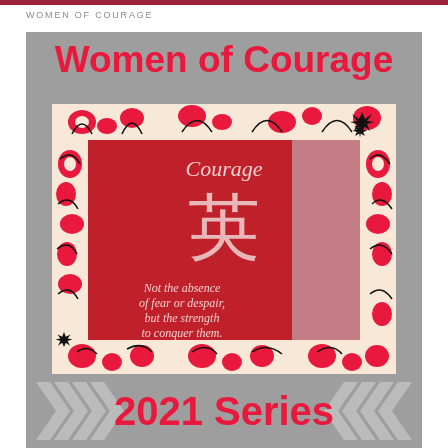WOMEN OF COURAGE
Women of Courage
[Figure (photo): Photograph of a red decorative sign with the word 'Courage' at top, a Chinese character (英) in the center, and the text 'Not the absence of fear or despair, but the strength to conquer them.' The sign is framed by a decorative border with red, black, and white floral patterns.]
2021 Series